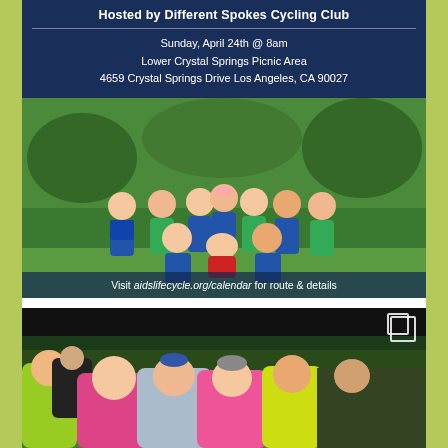Hosted by Different Spokes Cycling Club
Sunday, April 24th @ 8am
Lower Crystal Springs Picnic Area
4659 Crystal Springs Drive Los Angeles, CA 90027
[Figure (photo): Group photo of cyclists in blue and green cycling jerseys posing outdoors on green grass under trees]
Visit aidslifecycle.org/calendar for route & details
aidslifecycle In honor of their teammate Andy Jelmert, Different Spokes will be hosting a... more
[Figure (photo): Group of cyclists smiling, wearing pink and bright colored jackets and helmets, outdoors at a cycling event]